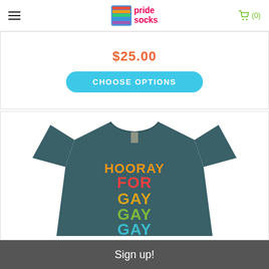pride socks — navigation and cart (0)
$25.00
CHOOSE OPTIONS
[Figure (photo): Dark teal t-shirt with colorful retro text reading HOORAY FOR GAY GAY GAY in orange, red, yellow, green, and teal letters]
Sign up!